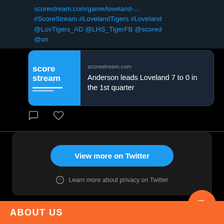scorestream.com/game/loveland-… #ScoreStream #LovelandTigers #Loveland @LovTigers_AD @LHS_TigerFB @scored @on
[Figure (screenshot): ScoreStream embed card showing logo and text: scorestream.com / Anderson leads Loveland 7 to 0 in the 1st quarter]
[Figure (other): Twitter action icons: comment and heart/like]
View more on Twitter
Learn more about privacy on Twitter
[Figure (illustration): Orange circular button with coffee cup icon]
ABOUT US